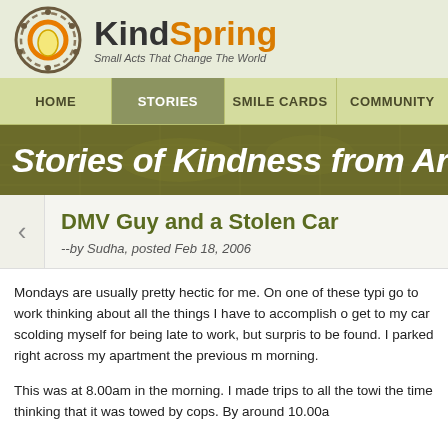[Figure (logo): KindSpring logo with circular icon and text. Tagline: Small Acts That Change The World]
HOME | STORIES | SMILE CARDS | COMMUNITY
Stories of Kindness from Around
DMV Guy and a Stolen Car
--by Sudha, posted Feb 18, 2006
Mondays are usually pretty hectic for me. On one of these typi go to work thinking about all the things I have to accomplish o get to my car scolding myself for being late to work, but surpris to be found. I parked right across my apartment the previous m morning.
This was at 8.00am in the morning. I made trips to all the towi the time thinking that it was towed by cops. By around 10.00a